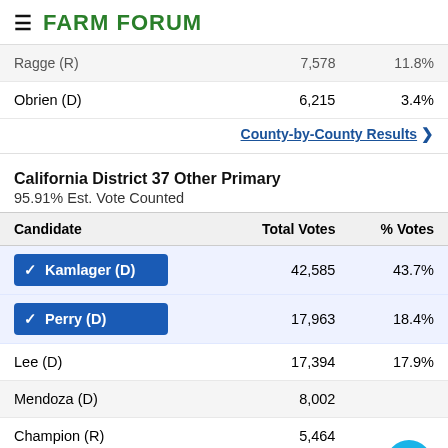FARM FORUM
| Candidate | Total Votes | % Votes |
| --- | --- | --- |
| Ragge (R) | 7,578 | 11.8% |
| Obrien (D) | 6,215 | 3.4% |
County-by-County Results ▶
California District 37 Other Primary
95.91% Est. Vote Counted
| Candidate | Total Votes | % Votes |
| --- | --- | --- |
| ✓ Kamlager (D) | 42,585 | 43.7% |
| ✓ Perry (D) | 17,963 | 18.4% |
| Lee (D) | 17,394 | 17.9% |
| Mendoza (D) | 8,002 | 8.2% |
| Champion (R) | 5,464 | 5.6% |
| Eadeline (D) | 3,514 | 3.6% |